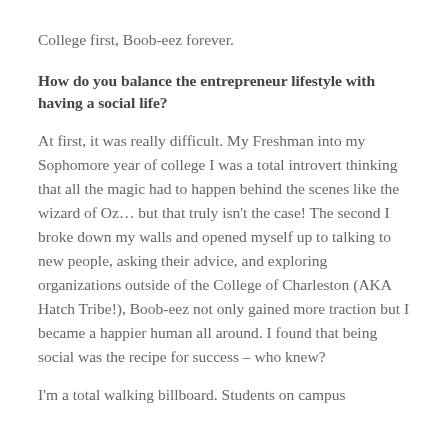College first, Boob-eez forever.
How do you balance the entrepreneur lifestyle with having a social life?
At first, it was really difficult. My Freshman into my Sophomore year of college I was a total introvert thinking that all the magic had to happen behind the scenes like the wizard of Oz… but that truly isn't the case! The second I broke down my walls and opened myself up to talking to new people, asking their advice, and exploring organizations outside of the College of Charleston (AKA Hatch Tribe!), Boob-eez not only gained more traction but I became a happier human all around. I found that being social was the recipe for success – who knew?
I'm a total walking billboard. Students on campus